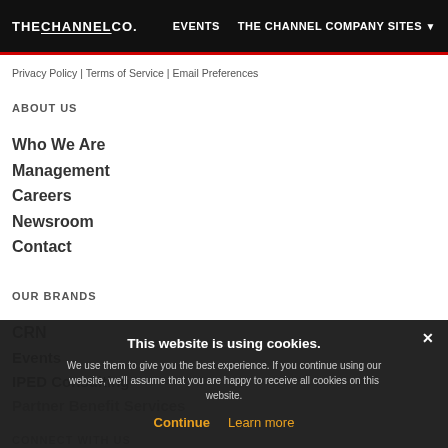THE CHANNEL CO. | EVENTS | THE CHANNEL COMPANY SITES
Privacy Policy | Terms of Service | Email Preferences
ABOUT US
Who We Are
Management
Careers
Newsroom
Contact
OUR BRANDS
CRN
Events
IPED Consulting
Partner Benefit Services
CONNECT WITH US
This website is using cookies. We use them to give you the best experience. If you continue using our website, we'll assume that you are happy to receive all cookies on this website.
Continue | Learn more